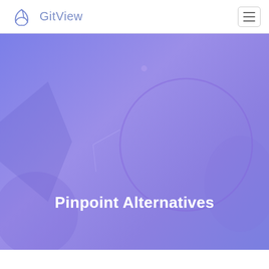GitView
[Figure (illustration): Purple/blue gradient hero banner with decorative geometric shapes — a large semi-circle outline on the right center, a diamond/rhombus shape on the left, and a partial circle arc — creating an abstract decorative background for the page title]
Pinpoint Alternatives